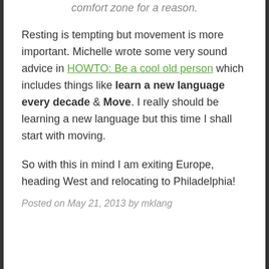comfort zone for a reason.
Resting is tempting but movement is more important. Michelle wrote some very sound advice in HOWTO: Be a cool old person which includes things like learn a new language every decade & Move. I really should be learning a new language but this time I shall start with moving.
So with this in mind I am exiting Europe, heading West and relocating to Philadelphia!
Posted on May 21, 2013 by mklang